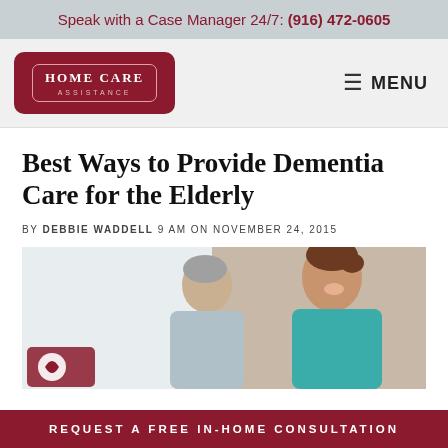Speak with a Case Manager 24/7: (916) 472-0605
[Figure (logo): Home Care Assistance logo — dark red badge shape with white text]
≡ MENU
Best Ways to Provide Dementia Care for the Elderly
BY DEBBIE WADDELL 9 AM ON NOVEMBER 24, 2015
[Figure (photo): A caregiver smiling and interacting with an elderly person]
REQUEST A FREE IN-HOME CONSULTATION